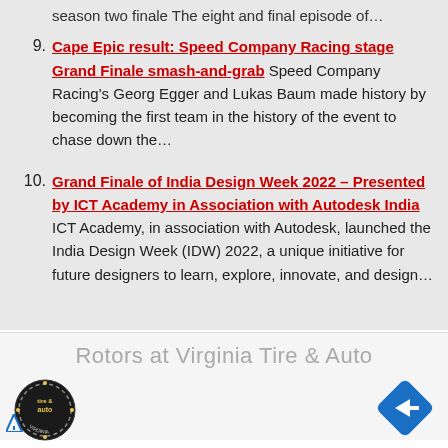season two finale The eight and final episode of…
9. Cape Epic result: Speed Company Racing stage Grand Finale smash-and-grab Speed Company Racing's Georg Egger and Lukas Baum made history by becoming the first team in the history of the event to chase down the…
10. Grand Finale of India Design Week 2022 – Presented by ICT Academy in Association with Autodesk India ICT Academy, in association with Autodesk, launched the India Design Week (IDW) 2022, a unique initiative for future designers to learn, explore, innovate, and design…
[Figure (infographic): Advertisement banner for Rotors at Virginia Tire & Auto, showing the Virginia Tire & Auto logo on the left and a blue navigation arrow icon on the right.]